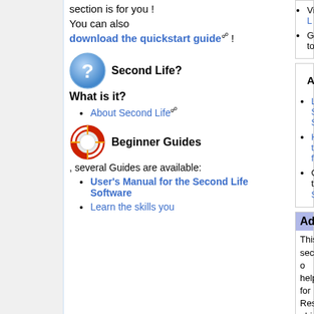section is for you ! You can also download the quickstart guide !
Second Life? What is it?
About Second Life
Beginner Guides, several Guides are available:
User's Manual for the Second Life Software
Learn the skills you
Visit L
Go to
About
Linder Service Standa
How to feature
Go to Site
Adva
This section o help for Resid objects, navig communicatio